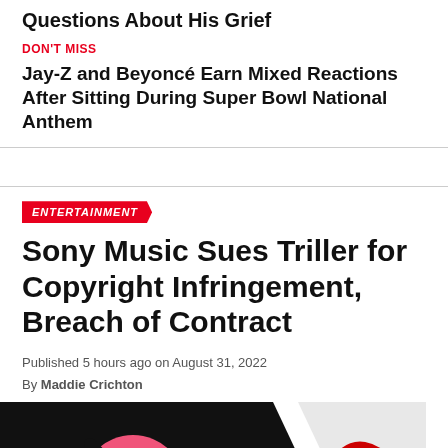Questions About His Grief
DON'T MISS
Jay-Z and Beyoncé Earn Mixed Reactions After Sitting During Super Bowl National Anthem
ENTERTAINMENT
Sony Music Sues Triller for Copyright Infringement, Breach of Contract
Published 5 hours ago on August 31, 2022
By Maddie Crichton
[Figure (photo): Black background with pink and red graphic logos/icons representing Sony Music and Triller]